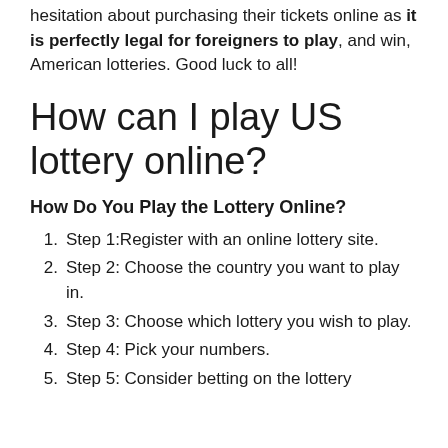hesitation about purchasing their tickets online as it is perfectly legal for foreigners to play, and win, American lotteries. Good luck to all!
How can I play US lottery online?
How Do You Play the Lottery Online?
Step 1:Register with an online lottery site.
Step 2: Choose the country you want to play in.
Step 3: Choose which lottery you wish to play.
Step 4: Pick your numbers.
Step 5: Consider betting on the lottery